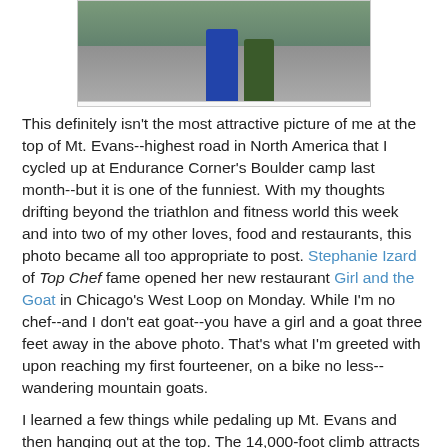[Figure (photo): Partial photo of a person at the top of Mt. Evans, showing lower portion of figures against a mountain background]
This definitely isn't the most attractive picture of me at the top of Mt. Evans--highest road in North America that I cycled up at Endurance Corner's Boulder camp last month--but it is one of the funniest. With my thoughts drifting beyond the triathlon and fitness world this week and into two of my other loves, food and restaurants, this photo became all too appropriate to post. Stephanie Izard of Top Chef fame opened her new restaurant Girl and the Goat in Chicago's West Loop on Monday. While I'm no chef--and I don't eat goat--you have a girl and a goat three feet away in the above photo. That's what I'm greeted with upon reaching my first fourteener, on a bike no less--wandering mountain goats.
I learned a few things while pedaling up Mt. Evans and then hanging out at the top. The 14,000-foot climb attracts a lot of bikes, cars and goats. Our group of 25 or so hearty souls clamored to the top, and I rode with two older men for a bit but their pedal power got the best of me. I stopped counting